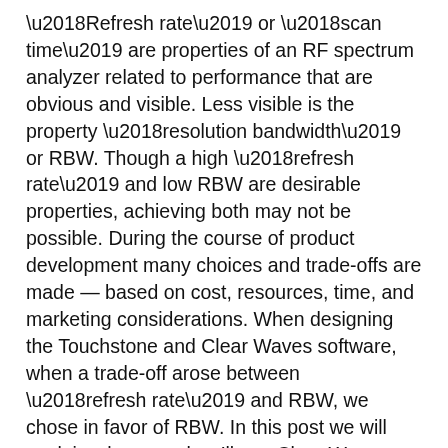‘Refresh rate’ or ‘scan time’ are properties of an RF spectrum analyzer related to performance that are obvious and visible. Less visible is the property ‘resolution bandwidth’ or RBW. Though a high ‘refresh rate’ and low RBW are desirable properties, achieving both may not be possible. During the course of product development many choices and trade-offs are made — based on cost, resources, time, and marketing considerations. When designing the Touchstone and Clear Waves software, when a trade-off arose between ‘refresh rate’ and RBW, we chose in favor of RBW. In this post we will explain why — and we’ll use Clear Waves as an example.
When comparing the refresh rate of the RF Explorer device with that of Clear Waves the device appears much faster. This is partly machine dependent — that is, Clear Waves is very graphical and several diagnostic charts are repeatedly re-calculated and re-drawn, which